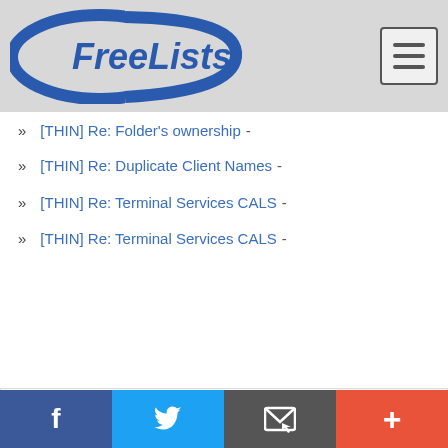FreeLists
» [THIN] Re: Folder's ownership -
» [THIN] Re: Duplicate Client Names -
» [THIN] Re: Terminal Services CALS -
» [THIN] Re: Terminal Services CALS -
[Figure (advertisement): CVS Epic Beauty Event advertisement with CVS logo and red arrow]
Social share bar with Facebook, Twitter, email, and plus buttons